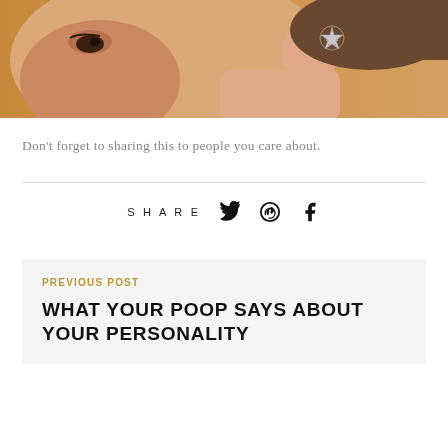[Figure (photo): Close-up of a woman's ear and neck area, showing a starfish-shaped earring. Warm skin tones with hair pulled back.]
Don’t forget to sharing this to people you care about.
SHARE
PREVIOUS POST
WHAT YOUR POOP SAYS ABOUT YOUR PERSONALITY